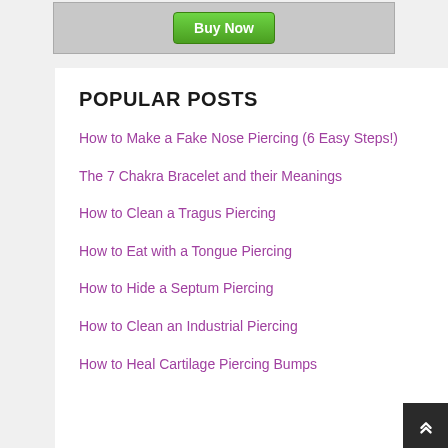[Figure (screenshot): Banner advertisement with a green Buy Now button on grey background]
POPULAR POSTS
How to Make a Fake Nose Piercing (6 Easy Steps!)
The 7 Chakra Bracelet and their Meanings
How to Clean a Tragus Piercing
How to Eat with a Tongue Piercing
How to Hide a Septum Piercing
How to Clean an Industrial Piercing
How to Heal Cartilage Piercing Bumps